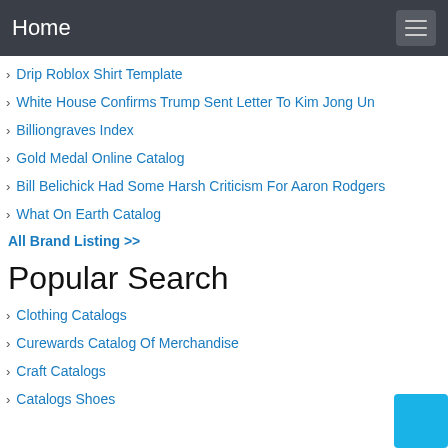Home
Drip Roblox Shirt Template
White House Confirms Trump Sent Letter To Kim Jong Un
Billiongraves Index
Gold Medal Online Catalog
Bill Belichick Had Some Harsh Criticism For Aaron Rodgers
What On Earth Catalog
All Brand Listing >>
Popular Search
Clothing Catalogs
Curewards Catalog Of Merchandise
Craft Catalogs
Catalogs Shoes